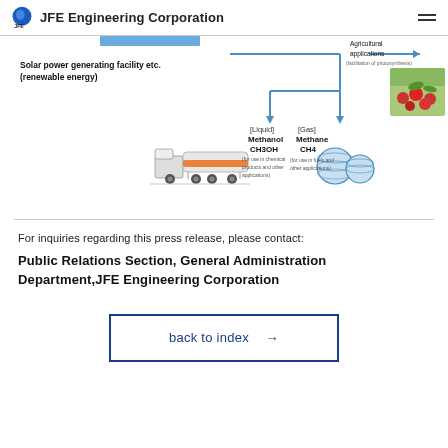JFE Engineering Corporation
[Figure (infographic): Diagram showing renewable energy (Solar power generating facility etc.) converting to [Liquid] Methanol CH3OH (for use in chemical products and other applications) and [Gas] Methane CH4 (for use in fuels and other applications), with Agricultural applications (facilitation of photosynthesis) shown on the right. Includes illustrations of a tanker truck, gas storage spheres, and a greenhouse with tomatoes.]
For inquiries regarding this press release, please contact:
Public Relations Section, General Administration Department, JFE Engineering Corporation
back to index →